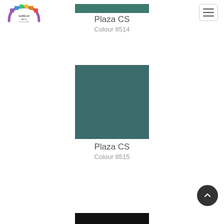[Figure (logo): Aurelio Haus colorful rainbow logo with colored squares]
[Figure (other): Hamburger menu button (three horizontal bars) in top right corner]
[Figure (other): Partial color swatch for Plaza CS Colour 8514 - dark teal strip at top]
Plaza CS
Colour 8514
[Figure (other): Full square color swatch for Plaza CS Colour 8515 - muted teal/green with grid texture]
Plaza CS
Colour 8515
[Figure (other): Partial dark/black color swatch at bottom of page]
[Figure (other): Scroll-to-top circular dark button with upward chevron arrow]